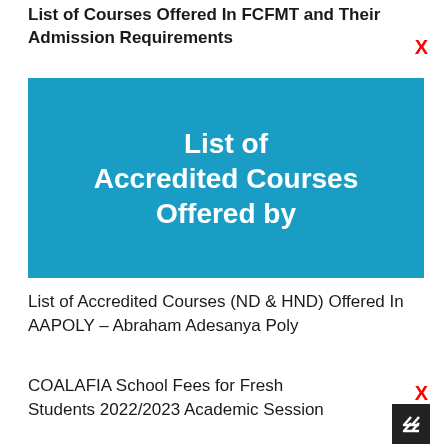List of Courses Offered In FCFMT and Their Admission Requirements
[Figure (illustration): Blue banner image with white bold text reading 'List of Accredited Courses Offered by' on a bright blue background]
List of Accredited Courses (ND & HND) Offered In AAPOLY – Abraham Adesanya Poly
COALAFIA School Fees for Fresh Students 2022/2023 Academic Session